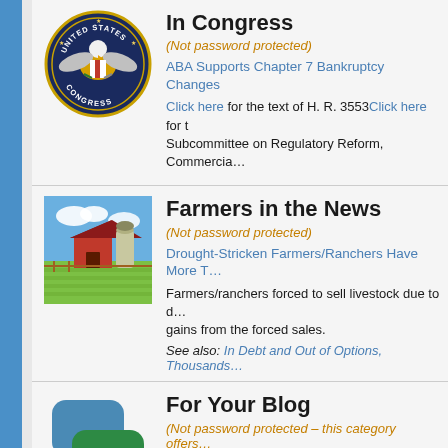[Figure (logo): United States Congress seal/emblem circular logo]
In Congress
(Not password protected)
ABA Supports Chapter 7 Bankruptcy Changes
Click here for the text of H. R. 3553Click here for the Subcommittee on Regulatory Reform, Commercia...
[Figure (photo): Farm scene with red barn, silo, green fields and blue sky]
Farmers in the News
(Not password protected)
Drought-Stricken Farmers/Ranchers Have More T...
Farmers/ranchers forced to sell livestock due to d... gains from the forced sales.
See also: In Debt and Out of Options, Thousands...
[Figure (illustration): Blog icon - blue and green speech bubble with BLOG text]
For Your Blog
(Not password protected – this category offers...
Mark Cuban: 'If you use a credit card, you...
New Low Lets Consumers Freeze Credit f...